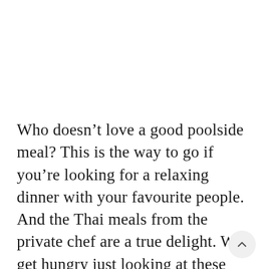Who doesn't love a good poolside meal? This is the way to go if you're looking for a relaxing dinner with your favourite people. And the Thai meals from the private chef are a true delight. We get hungry just looking at these photos.